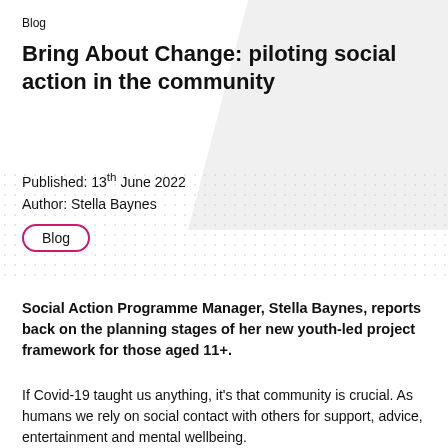Blog
Bring About Change: piloting social action in the community
Published: 13th June 2022
Author: Stella Baynes
Blog
Social Action Programme Manager, Stella Baynes, reports back on the planning stages of her new youth-led project framework for those aged 11+.
If Covid-19 taught us anything, it’s that community is crucial. As humans we rely on social contact with others for support, advice, entertainment and mental wellbeing.